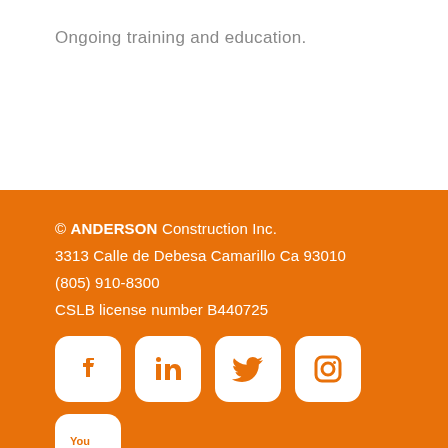Ongoing training and education.
© ANDERSON Construction Inc.
3313 Calle de Debesa Camarillo Ca 93010
(805) 910-8300
CSLB license number B440725
[Figure (logo): Social media icons: Facebook, LinkedIn, Twitter, Instagram, YouTube — white rounded-square icons on orange background]